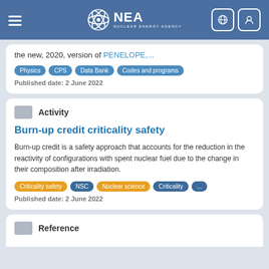NEA - Nuclear Energy Agency
the new, 2020, version of PENELOPE,...
Tags: Physics, CPS, Data Bank, Codes and programs
Published date: 2 June 2022
Activity
Burn-up credit criticality safety
Burn-up credit is a safety approach that accounts for the reduction in the reactivity of configurations with spent nuclear fuel due to the change in their composition after irradiation.
Tags: Criticality safety, NSC, Nuclear science, Criticality, ...
Published date: 2 June 2022
Reference